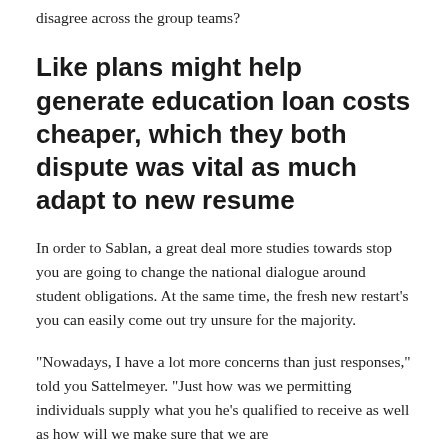disagree across the group teams?
Like plans might help generate education loan costs cheaper, which they both dispute was vital as much adapt to new resume
In order to Sablan, a great deal more studies towards stop you are going to change the national dialogue around student obligations. At the same time, the fresh new restart’s you can easily come out try unsure for the majority.
“Nowadays, I have a lot more concerns than just responses,” told you Sattelmeyer. “Just how was we permitting individuals supply what you he’s qualified to receive as well as how will we make sure that we are